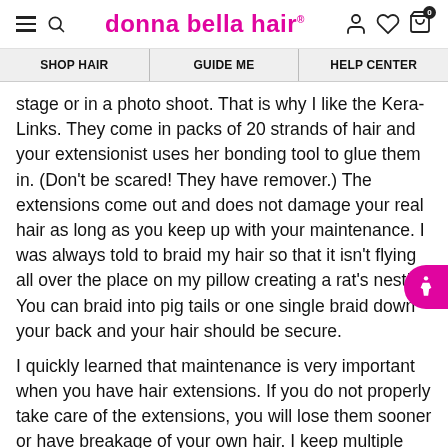donna bella hair
SHOP HAIR | GUIDE ME | HELP CENTER
stage or in a photo shoot. That is why I like the Kera-Links. They come in packs of 20 strands of hair and your extensionist uses her bonding tool to glue them in. (Don't be scared! They have remover.) The extensions come out and does not damage your real hair as long as you keep up with your maintenance. I was always told to braid my hair so that it isn't flying all over the place on my pillow creating a rat's nest! You can braid into pig tails or one single braid down your back and your hair should be secure.
I quickly learned that maintenance is very important when you have hair extensions. If you do not properly take care of the extensions, you will lose them sooner or have breakage of your own hair. I keep multiple natural bristle brushes on hand because the bristles can go through your spaces where the hair was placed. Donna Bella actually has their own hair extension brush, which I recommend buying!